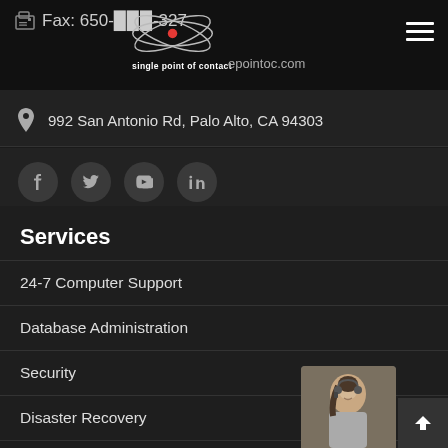Fax: 650-***-327 | single point of contact | ***pointoc.com
[Figure (logo): Single Point of Contact company logo with orbital rings and red dot]
992 San Antonio Rd, Palo Alto, CA 94303
[Figure (infographic): Social media icons: Facebook, Twitter, YouTube, LinkedIn]
Services
24-7 Computer Support
Database Administration
Security
Disaster Recovery
Colocation Services
Relocation Services
[Figure (photo): Woman with headset smiling, customer support representative]